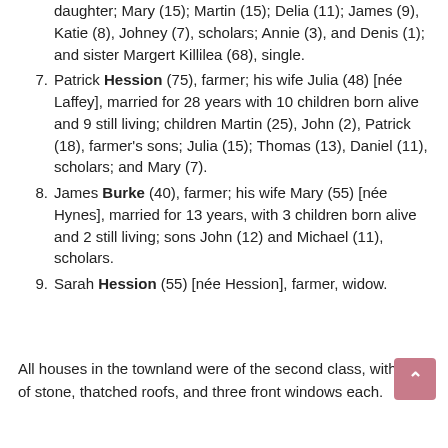daughter; Mary (15); Martin (15); Delia (11); James (9), Katie (8), Johney (7), scholars; Annie (3), and Denis (1); and sister Margert Killilea (68), single.
7. Patrick Hession (75), farmer; his wife Julia (48) [née Laffey], married for 28 years with 10 children born alive and 9 still living; children Martin (25), John (2), Patrick (18), farmer's sons; Julia (15); Thomas (13), Daniel (11), scholars; and Mary (7).
8. James Burke (40), farmer; his wife Mary (55) [née Hynes], married for 13 years, with 3 children born alive and 2 still living; sons John (12) and Michael (11), scholars.
9. Sarah Hession (55) [née Hession], farmer, widow.
All houses in the townland were of the second class, with walls of stone, thatched roofs, and three front windows each.